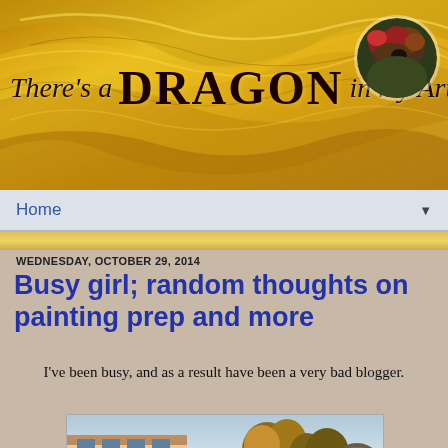[Figure (photo): Blog header banner with golden feather/flame texture background and the text 'There's a DRAGON in my Art Room' with a circular photo in the top right corner]
Home
WEDNESDAY, OCTOBER 29, 2014
Busy girl; random thoughts on painting prep and more
I've been busy, and as a result have been a very bad blogger.
[Figure (photo): Exterior photo of a school or public building with trees in autumn colors]